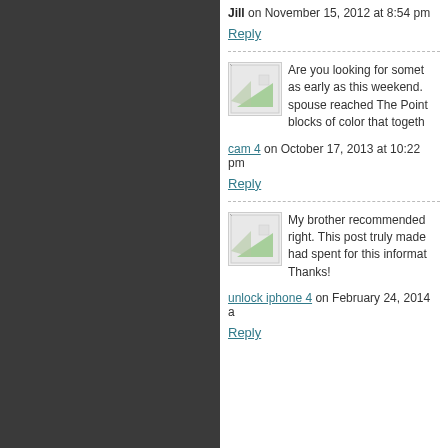Jill on November 15, 2012 at 8:54 pm
Reply
Are you looking for somet... as early as this weekend. spouse reached The Point... blocks of color that togeth...
cam 4 on October 17, 2013 at 10:22 pm
Reply
My brother recommended... right. This post truly made had spent for this informat... Thanks!
unlock iphone 4 on February 24, 2014
Reply